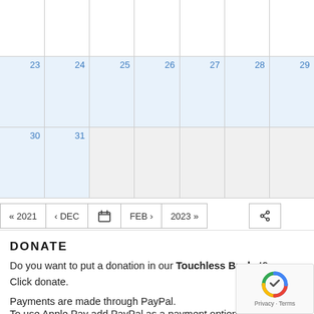|  |  |  |  |  |  |  |
| 23 | 24 | 25 | 26 | 27 | 28 | 29 |
| 30 | 31 |  |  |  |  |  |
[Figure (other): Calendar navigation bar with buttons: « 2021, ‹ DEC, calendar icon, FEB ›, 2023 », and an RSS feed icon]
DONATE
Do you want to put a donation in our Touchless Bucket? Click donate.
Payments are made through PayPal.
To use Apple Pay add PayPal as a payment option on